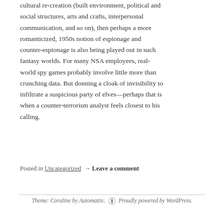cultural re-creation (built environment, political and social structures, arts and crafts, interpersonal communication, and so on), then perhaps a more romanticized, 1950s notion of espionage and counter-espionage is also being played out in such fantasy worlds. For many NSA employees, real-world spy games probably involve little more than crunching data. But donning a cloak of invisibility to infiltrate a suspicious party of elves—perhaps that is when a counter-terrorism analyst feels closest to his calling.
Posted in Uncategorized → Leave a comment
Theme: Coraline by Automattic. Proudly powered by WordPress.